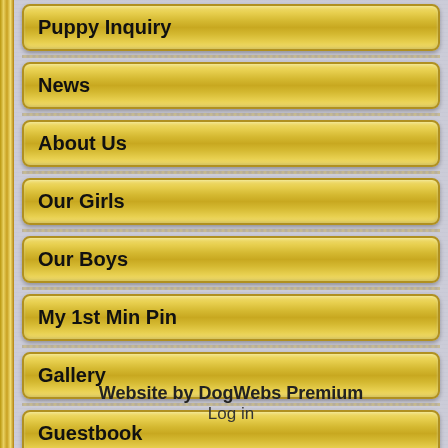Puppy Inquiry
News
About Us
Our Girls
Our Boys
My 1st Min Pin
Gallery
Guestbook
Contact Us
Website by DogWebs Premium
Log in